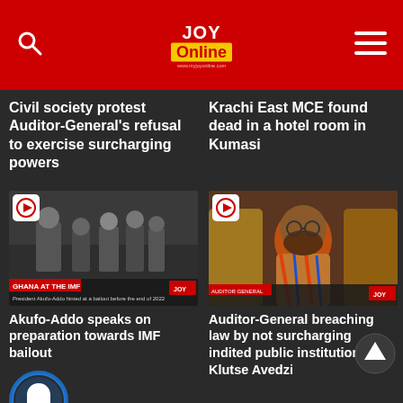JoyOnline
Civil society protest Auditor-General’s refusal to exercise surcharging powers
Krachi East MCE found dead in a hotel room in Kumasi
[Figure (photo): Video thumbnail showing Ghana at the IMF news segment with President Akufo-Addo]
Akufo-Addo speaks on preparation towards IMF bailout
[Figure (photo): Video thumbnail showing an interview with a man in colorful patterned shirt]
Auditor-General breaching law by not surcharging indited public institutions – Klutse Avedzi